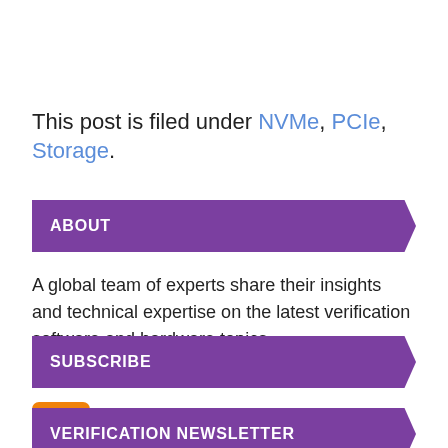This post is filed under NVMe, PCIe, Storage.
ABOUT
A global team of experts share their insights and technical expertise on the latest verification software and hardware topics.
SUBSCRIBE
[Figure (logo): RSS feed icon - orange square with white RSS symbol]
VERIFICATION NEWSLETTER